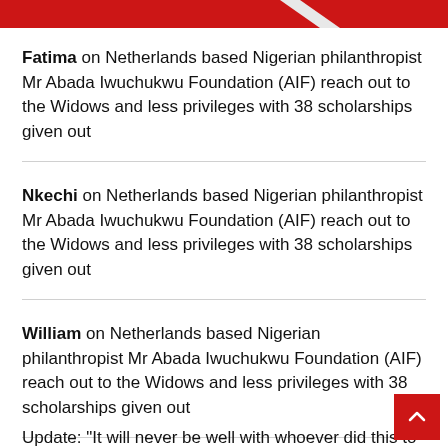Fatima on Netherlands based Nigerian philanthropist Mr Abada Iwuchukwu Foundation (AIF) reach out to the Widows and less privileges with 38 scholarships given out
Nkechi on Netherlands based Nigerian philanthropist Mr Abada Iwuchukwu Foundation (AIF) reach out to the Widows and less privileges with 38 scholarships given out
William on Netherlands based Nigerian philanthropist Mr Abada Iwuchukwu Foundation (AIF) reach out to the Widows and less privileges with 38 scholarships given out
Update: "It will never be well with whoever did this to you" - Friends, former classmates mourn young